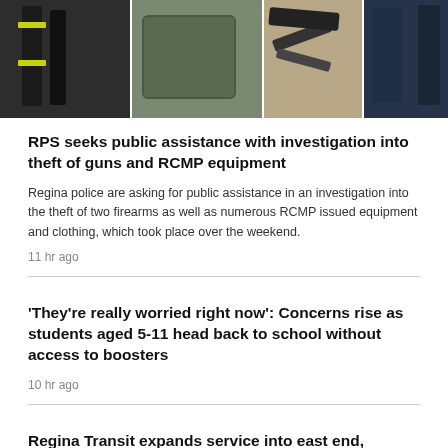[Figure (photo): Four-panel photo strip showing stolen RCMP equipment including dark uniform pants with yellow stripes, dark duffle bag, firearms/equipment on floor, dark clothing items and uniform pants]
RPS seeks public assistance with investigation into theft of guns and RCMP equipment
Regina police are asking for public assistance in an investigation into the theft of two firearms as well as numerous RCMP issued equipment and clothing, which took place over the weekend.
11 hr ago
'They're really worried right now': Concerns rise as students aged 5-11 head back to school without access to boosters
10 hr ago
Regina Transit expands service into east end, implements free rides for youth